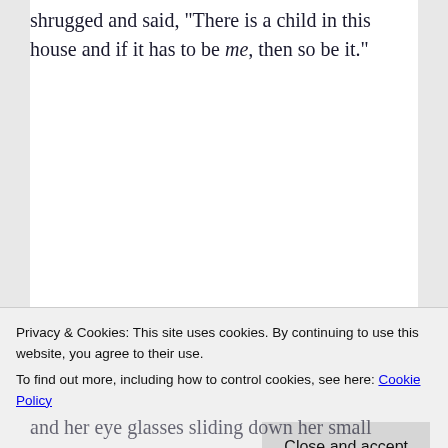shrugged and said, "There is a child in this house and if it has to be me, then so be it."
The rest of the dinner continued with conversations between Maya and Arnav about their day in surgery and their cases while Sumitra
Privacy & Cookies: This site uses cookies. By continuing to use this website, you agree to their use. To find out more, including how to control cookies, see here: Cookie Policy
and her eye glasses sliding down her small nose,